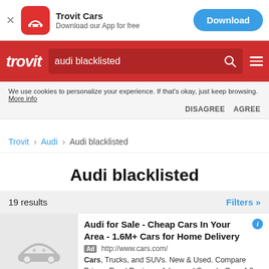[Figure (screenshot): App download banner: Trovit Cars — Download our App for free, with Download button]
[Figure (screenshot): Trovit red navigation bar with search box showing 'audi blacklisted']
We use cookies to personalize your experience. If that's okay, just keep browsing. More info DISAGREE AGREE
Trovit > Audi > Audi blacklisted
Audi blacklisted
19 results   Filters »
Audi for Sale - Cheap Cars In Your Area - 1.6M+ Cars for Home Delivery
Ad http://www.cars.com/
Cars, Trucks, and SUVs. New & Used. Compare Prices. Read Reviews. Advanced Search. Over 4.9 Million Listings - Find the...